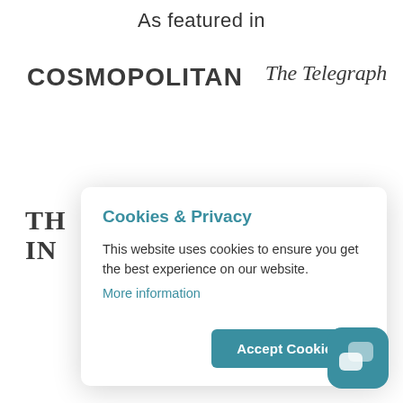As featured in
[Figure (logo): COSMOPOLITAN logo in bold uppercase black sans-serif font]
[Figure (logo): The Telegraph logo in serif italic font]
[Figure (logo): Partial logo showing 'TH' and 'IN' in bold serif font (partially obscured by modal)]
Cookies & Privacy
This website uses cookies to ensure you get the best experience on our website.
More information
[Figure (screenshot): Accept Cookies button (teal/dark cyan rounded rectangle)]
[Figure (other): Chat widget icon in teal with chat bubble icons, bottom right corner]